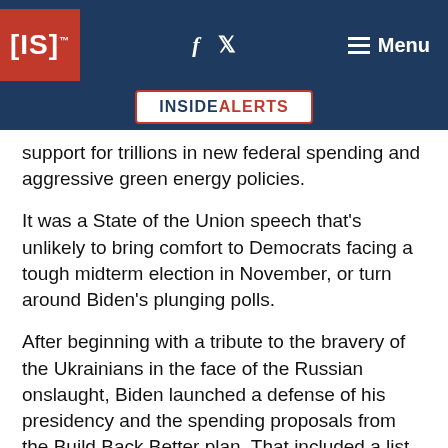[IS]™  f  𝕏  Menu  INSIDEALERTS
support for trillions in new federal spending and aggressive green energy policies.
It was a State of the Union speech that's unlikely to bring comfort to Democrats facing a tough midterm election in November, or turn around Biden's plunging polls.
After beginning with a tribute to the bravery of the Ukrainians in the face of the Russian onslaught, Biden launched a defense of his presidency and the spending proposals from the Build Back Better plan. That included a list of hundreds of billions of dollars for green energy proposals, taxpayer-funded childcare,